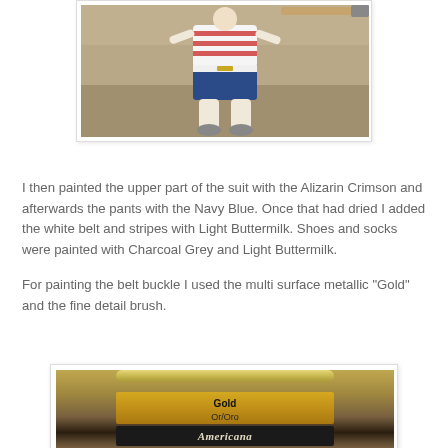[Figure (photo): A painted wooden doll figure wearing a red and white striped top and blue pants, laid on a sandy/brown surface with a paintbrush visible]
I then painted the upper part of the suit with the Alizarin Crimson and afterwards the pants with the Navy Blue. Once that had dried I added the white belt and stripes with Light Buttermilk. Shoes and socks were painted with Charcoal Grey and Light Buttermilk.
For painting the belt buckle I used the multi surface metallic "Gold" and the fine detail brush.
[Figure (photo): A jar of Americana multi-surface metallic paint in Gold (Or/Oro) color, showing the gold-colored lid, gold label band, and black Americana label at the bottom]